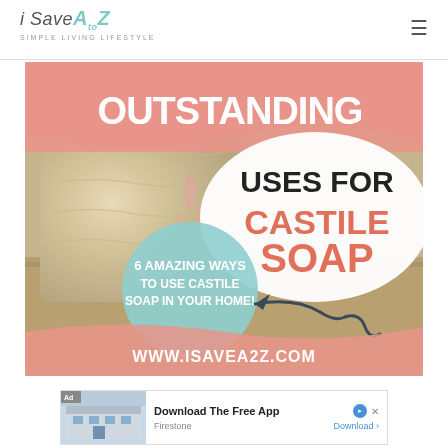iSaveAtoZ — SIMPLE LIVING LIFESTYLE
[Figure (infographic): Castile soap bar photo with text overlay: OUTSTANDING USES FOR CASTILE SOAP — 6 Amazing Ways to Use Castile Soap in Your Home! www.isavea2z.com]
[Figure (infographic): Advertisement banner: Ad — Download The Free App — Firestone — Download]